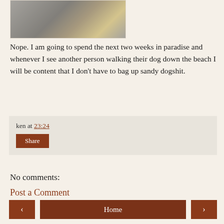[Figure (photo): Partial photo of a person with rocks visible, cropped at top]
Nope. I am going to spend the next two weeks in paradise and whenever I see another person walking their dog down the beach I will be content that I don't have to bag up sandy dogshit.
ken at 23:24
Share
No comments:
Post a Comment
Home
View web version
About Me